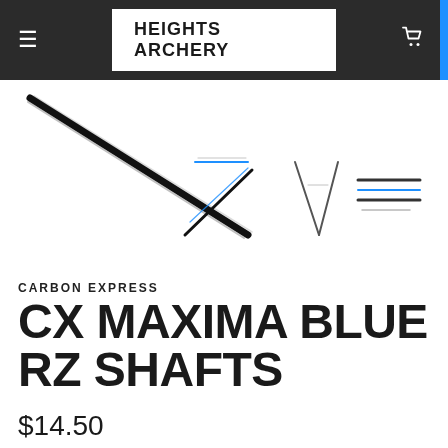HEIGHTS ARCHERY
[Figure (photo): Product images of CX Maxima Blue RZ arrow shafts: main image shows diagonal black carbon arrow shaft; three thumbnail images showing shaft angle view, tip/point view, and shaft cross-section/diameter comparison with blue accent]
CARBON EXPRESS
CX MAXIMA BLUE RZ SHAFTS
$14.50